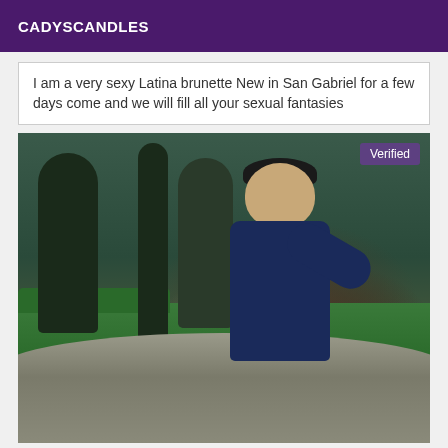CADYSCANDLES
I am a very sexy Latina brunette New in San Gabriel for a few days come and we will fill all your sexual fantasies
[Figure (photo): Photo of a young person leaning on a large rock in a park setting with trees in the background. A 'Verified' badge appears in the upper right corner of the photo.]